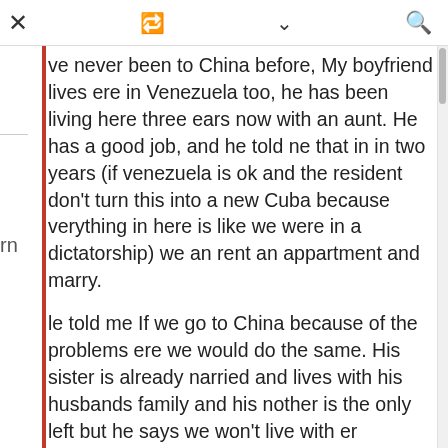× ↺ ∨ 🔍
ve never been to China before, My boyfriend lives ere in Venezuela too, he has been living here three ears now with an aunt. He has a good job, and he told ne that in in two years (if venezuela is ok and the resident don't turn this into a new Cuba because verything in here is like we were in a dictatorship) we an rent an appartment and marry.
le told me If we go to China because of the problems ere we would do the same. His sister is already narried and lives with his husbands family and his nother is the only left but he says we won't live with er because she's very delicate of health and maybe he won't be there in two years :(
esterday, when we were talking about it my oyfriend say to me that if venezuela gets very bad